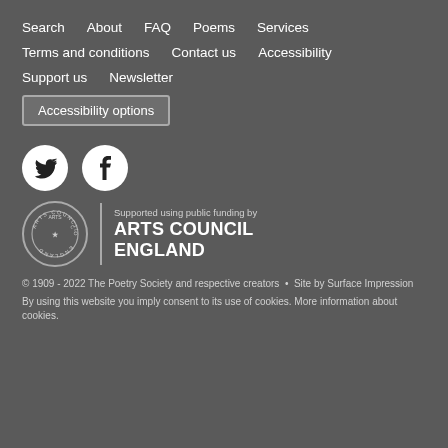Search    About    FAQ    Poems    Services
Terms and conditions    Contact us    Accessibility
Support us    Newsletter
Accessibility options
[Figure (logo): Twitter bird icon in white circle and Facebook f icon in white circle]
[Figure (logo): Arts Council England logo - circular seal with text ARTS COUNCIL and ENGLAND. Supported using public funding by ARTS COUNCIL ENGLAND]
© 1909 - 2022 The Poetry Society and respective creators • Site by Surface Impression
By using this website you imply consent to its use of cookies. More information about cookies.